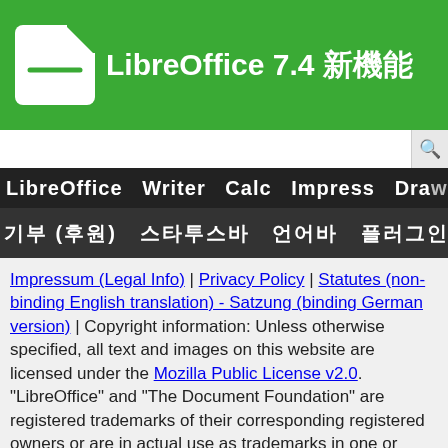LibreOffice 7.4 新機能
[Figure (screenshot): Search bar with input field and search button]
LibreOffice Writer Calc Impress Draw
기부 (후원) 스타투스바 언어바 플러그인바 찾기바
Impressum (Legal Info) | Privacy Policy | Statutes (non-binding English translation) - Satzung (binding German version) | Copyright information: Unless otherwise specified, all text and images on this website are licensed under the Mozilla Public License v2.0. "LibreOffice" and "The Document Foundation" are registered trademarks of their corresponding registered owners or are in actual use as trademarks in one or more countries. Their respective logos and icons are also subject to international copyright laws. Use thereof is explained in our trademark policy. LibreOffice was based on OpenOffice.org.